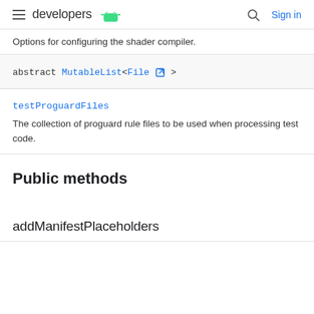developers | Sign in
Options for configuring the shader compiler.
abstract MutableList<File >
testProguardFiles
The collection of proguard rule files to be used when processing test code.
Public methods
addManifestPlaceholders